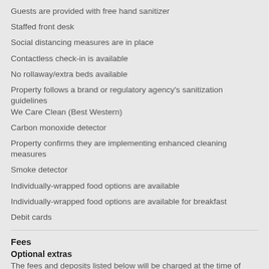Guests are provided with free hand sanitizer
Staffed front desk
Social distancing measures are in place
Contactless check-in is available
No rollaway/extra beds available
Property follows a brand or regulatory agency's sanitization guidelines We Care Clean (Best Western)
Carbon monoxide detector
Property confirms they are implementing enhanced cleaning measures
Smoke detector
Individually-wrapped food options are available
Individually-wrapped food options are available for breakfast
Debit cards
Fees
Optional extras
The fees and deposits listed below will be charged at the time of service, check-in, or check-out.
Extended parking fee: USD 5 per day